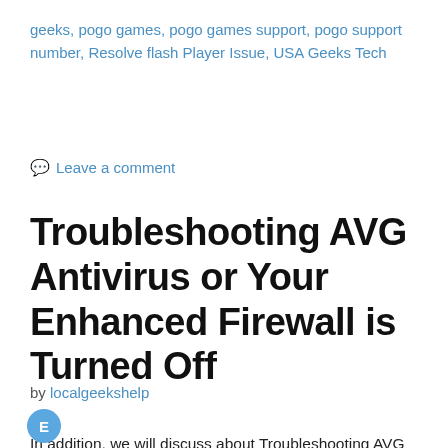geeks, pogo games, pogo games support, pogo support number, Resolve flash Player Issue, USA Geeks Tech
💬 Leave a comment
Troubleshooting AVG Antivirus or Your Enhanced Firewall is Turned Off
by localgeekshelp
In addition, we will discuss about Troubleshooting AVG Antivirus or Your Enhanced Firewall is Turned Off. In certain cases, Troubleshooting AVG Antivirus